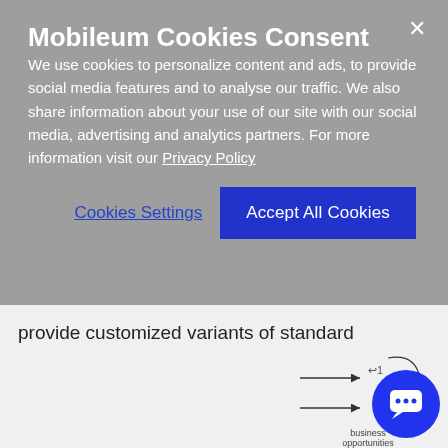Mobileum Cookies Consent
We use cookies to personalize content and ads, to provide social media features and to analyse our traffic. We also share information about your use of our site with our social media, advertising and analytics partners. For more information visit our Privacy Policy
Cookies Settings
Accept All Cookies
provide customized variants of standard protocols or full custom protocol/applications on our flexible platform.  We also offer analysis of Diameter and GTP traffic with our dsAnalyzer tool.
[Figure (screenshot): Partial view of a diagram with arrows and business opportunities label, and a blue circular chat support icon in the bottom right corner.]